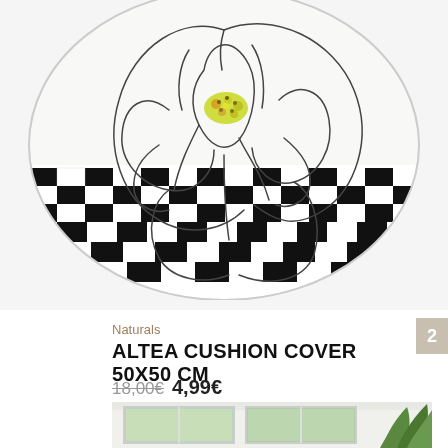[Figure (photo): White cushion cover with minimalist line-drawing of a large flower (rose/peony) with yellow-green center detail, on a black and white checkerboard pattern background. The cushion is photographed against a light grey/white background.]
Naturals
ALTEA CUSHION COVER 50X50 CM
18,00€ 4,99€
[Figure (photo): Partial view of a room interior with white walls, windows with white frames, and green plant foliage visible on the right side.]